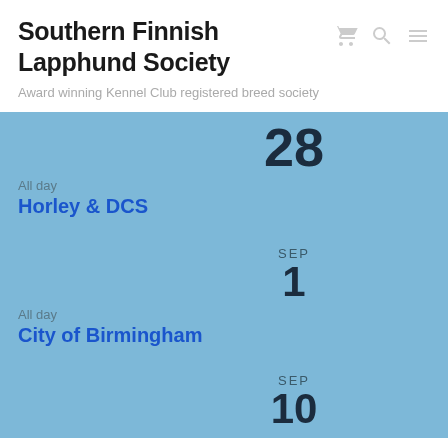Southern Finnish Lapphund Society
Award winning Kennel Club registered breed society
28
All day
Horley & DCS
SEP 1
All day
City of Birmingham
SEP 10
This website uses cookies to improve your experience. We'll assume you're ok with this, but you can opt-out if you wish.
Accept
Read More